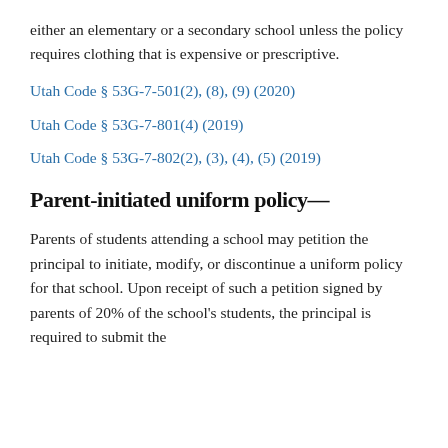either an elementary or a secondary school unless the policy requires clothing that is expensive or prescriptive.
Utah Code § 53G-7-501(2), (8), (9) (2020)
Utah Code § 53G-7-801(4) (2019)
Utah Code § 53G-7-802(2), (3), (4), (5) (2019)
Parent-initiated uniform policy—
Parents of students attending a school may petition the principal to initiate, modify, or discontinue a uniform policy for that school. Upon receipt of such a petition signed by parents of 20% of the school's students, the principal is required to submit the